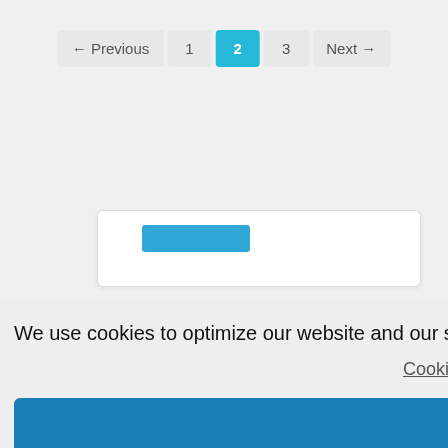← Previous  1  2  3  Next →
[Figure (screenshot): Partial card with blue bar visible behind cookie consent overlay]
We use cookies to optimize our website and our service.
Cookie Policy - Impressum
Accept all
Functional only
View preferences